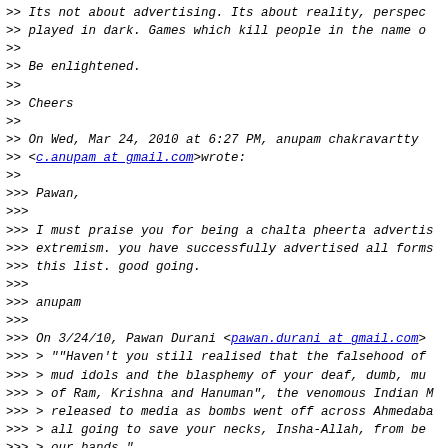>> Its not about advertising. Its about reality, perspective played in dark. Games which kill people in the name o...
>>
>> Be enlightened.
>>
>> Cheers
>>
>> On Wed, Mar 24, 2010 at 6:27 PM, anupam chakravartty
>> <c.anupam at gmail.com>wrote:
>>
>>> Pawan,
>>>
>>> I must praise you for being a chalta pheerta advertis... extremism. you have successfully advertised all forms... this list. good going.
>>>
>>> anupam
>>>
>>> On 3/24/10, Pawan Durani <pawan.durani at gmail.com>
>>> > ""Haven't you still realised that the falsehood of
>>> > mud idols and the blasphemy of your deaf, dumb, mu...
>>> > of Ram, Krishna and Hanuman", the venomous Indian M...
>>> > released to media as bombs went off across Ahmedaba...
>>> > all going to save your necks, Insha-Allah, from be...
>>> > our hands."
>>> >
>>> >
>>> > Islamism, modernity & Indian Mujahideen - PRAVEEN S...
>>> >
>>> > http://beta.thehindu.com/opinion/lead/article26767...